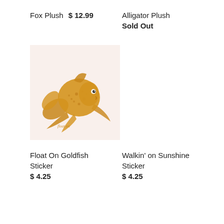Fox Plush   $ 12.99   Alligator Plush
Sold Out
[Figure (illustration): Goldfish sticker illustration on light pink/peach background — a golden-orange fancy goldfish with flowing fins and tail, with a small handwritten signature at the bottom.]
Float On Goldfish Sticker   $ 4.25   Walkin' on Sunshine Sticker   $ 4.25